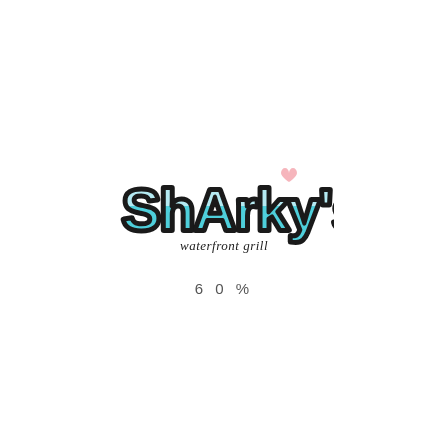[Figure (logo): Sharky's waterfront grill logo featuring bubbly teal/turquoise lettering with dark outlines, a small pink heart above the apostrophe, and 'waterfront grill' in black script below.]
60%